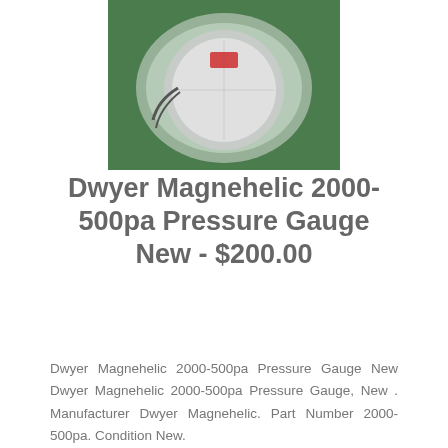[Figure (photo): Product photo of Dwyer Magnehelic 2000-500pa Pressure Gauge in packaging, shown from above against green background]
Dwyer Magnehelic 2000-500pa Pressure Gauge New - $200.00
Dwyer Magnehelic 2000-500pa Pressure Gauge New Dwyer Magnehelic 2000-500pa Pressure Gauge, New . Manufacturer Dwyer Magnehelic. Part Number 2000-500pa. Condition New.
[Figure (photo): Close-up photo of the Dwyer Magnehelic pressure gauge dial face, showing the circular gauge with scale markings and Magnehelic branding]